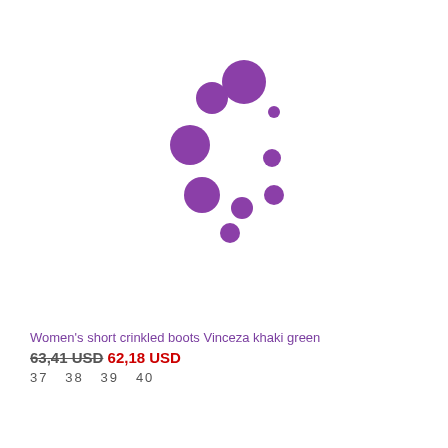[Figure (other): Purple loading spinner animation — a circular arc of dots in various sizes arranged in a spinning pattern, rendered in purple/violet color]
Women's short crinkled boots Vinceza khaki green
63,41 USD  62,18 USD
37   38   39   40